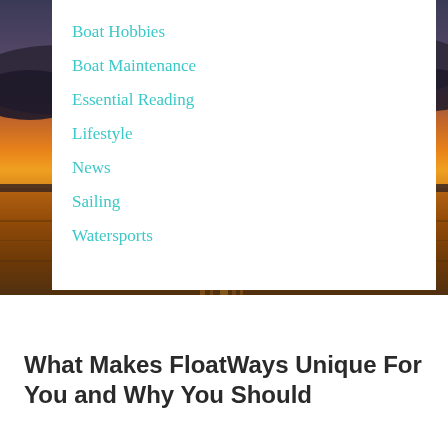[Figure (photo): Sunset over ocean, warm orange and golden sky with dark silhouetted horizon and calm water reflecting light]
Boat Hobbies
Boat Maintenance
Essential Reading
Lifestyle
News
Sailing
Watersports
What Makes FloatWays Unique For You and Why You Should